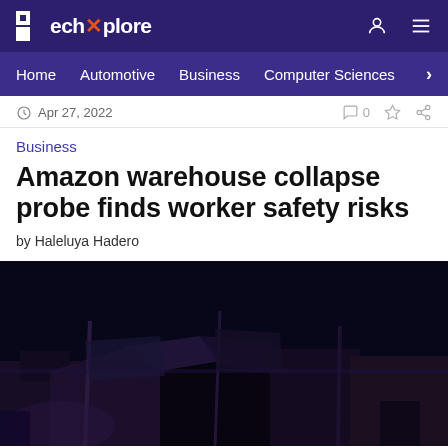TechXplore — Home | Automotive | Business | Computer Sciences
Apr 27, 2022 · 0 comments
Business
Amazon warehouse collapse probe finds worker safety risks
by Haleluya Hadero
[Figure (photo): Dark nighttime photo of a partially collapsed warehouse structure with debris and tarps visible]